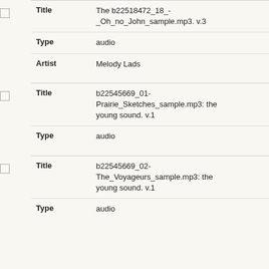| Field | Value |
| --- | --- |
| Title | The b22518472_18_-_Oh_no_John_sample.mp3. v.3 |
| Type | audio |
| Artist | Melody Lads |
| Field | Value |
| --- | --- |
| Title | b22545669_01-Prairie_Sketches_sample.mp3: the young sound. v.1 |
| Type | audio |
| Field | Value |
| --- | --- |
| Title | b22545669_02-The_Voyageurs_sample.mp3: the young sound. v.1 |
| Type | audio |